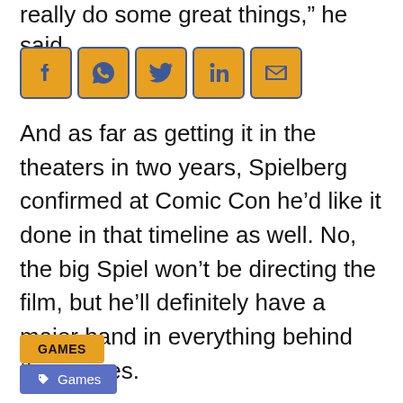really do some great things,” he said.
[Figure (infographic): Row of 5 social sharing icon buttons: Facebook, WhatsApp, Twitter, LinkedIn, Email — orange/gold background with dark blue icons and border]
And as far as getting it in the theaters in two years, Spielberg confirmed at Comic Con he’d like it done in that timeline as well. No, the big Spiel won’t be directing the film, but he’ll definitely have a major hand in everything behind the scenes.
GAMES
🏷 Games